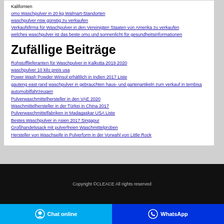Kalifornien
omo Waschpulver in 20 kg Walmart-Standorten
waschpulver nsw günstig zu verkaufen
Verkaufsfirma für Waschpulver in den Vereinigten Staaten von Amerika zu verkaufen
welches waschpulver ist das beste omo und sonnenlicht für gesundheitsinformationen
Zufällige Beiträge
Rohstofflieferanten für Waschpulver in Kalkutta 2019 2020
waschpulver 10 kilo preis usa
Power Wash Powder Winsol erhältlich in Indien 2017 Liste
gauteng east rand waschpulver in gebrauchten haus- und gartenartikeln zum verkauf in tembisa automobilfahrzeugen
Pulverwaschmittelhersteller in den VAE 2020
Waschmittelhersteller in der Türkei in China 2017
Pulverwaschmittelfabriken in Madagaskar USA Liste
Bestes Waschpulver in Asien 2017 Singapur
Großhandelssack mit pulverfreien Waschmittelproben
Hersteller von Waschseife in Pulverform in der Vorwahl von Little Rock
Copyright ©CLEACE All rights reserved